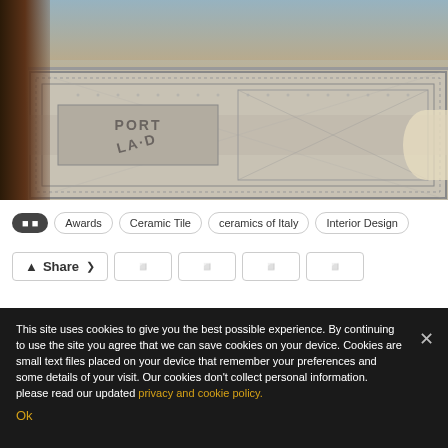[Figure (photo): Interior room photo showing a decorative geometric mosaic tile floor with 'PORT LA…' text pattern, viewed through dark wooden door frames. Background shows a modern lounge area with furniture.]
Awards
Ceramic Tile
ceramics of Italy
Interior Design
Share
This site uses cookies to give you the best possible experience. By continuing to use the site you agree that we can save cookies on your device. Cookies are small text files placed on your device that remember your preferences and some details of your visit. Our cookies don't collect personal information. please read our updated privacy and cookie policy.
Ok